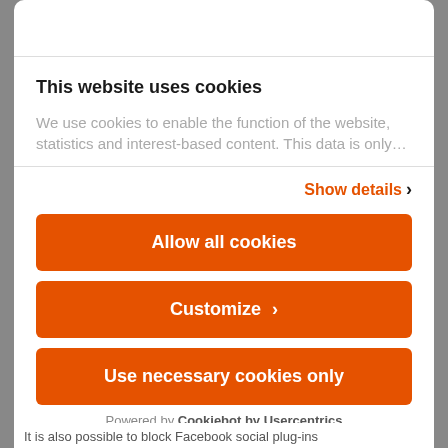This website uses cookies
We use cookies to enable the function of the website, statistics and interest-based content. This data is only…
Show details ›
Allow all cookies
Customize ›
Use necessary cookies only
Powered by Cookiebot by Usercentrics
It is also possible to block Facebook social plug-ins